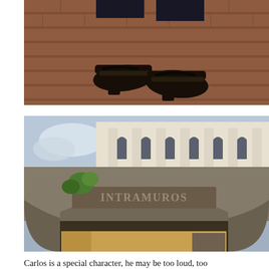[Figure (photo): Close-up photo of a person's feet wearing black leather sandals on a red brick pavement/sidewalk.]
[Figure (photo): Photo of the Intramuros gate arch in Manila, Philippines, with the word 'INTRAMUROS' carved into a stone archway, and a white colonial-era building with arched windows visible behind it. Green plants grow from the stonework.]
Carlos is a special character, he may be too loud, too